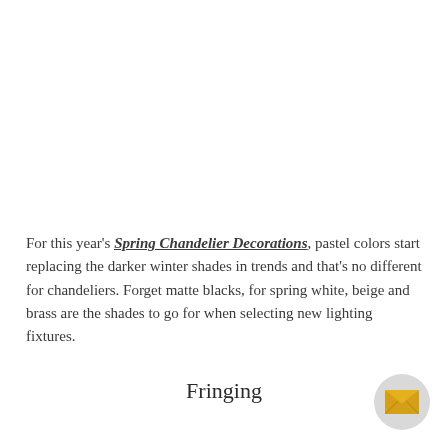For this year's Spring Chandelier Decorations, pastel colors start replacing the darker winter shades in trends and that's no different for chandeliers. Forget matte blacks, for spring white, beige and brass are the shades to go for when selecting new lighting fixtures.
Fringing
[Figure (illustration): Yellow envelope / mail icon inside a circular light grey button, positioned bottom-right corner]